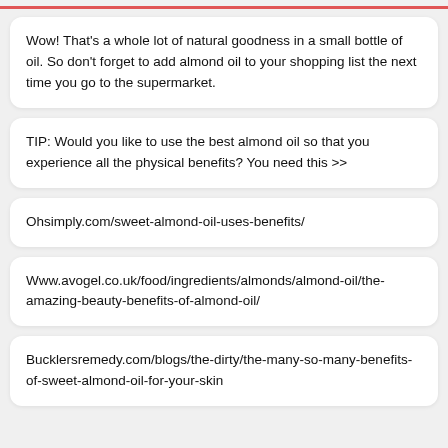Wow! That's a whole lot of natural goodness in a small bottle of oil. So don't forget to add almond oil to your shopping list the next time you go to the supermarket.
TIP: Would you like to use the best almond oil so that you experience all the physical benefits? You need this >>
Ohsimply.com/sweet-almond-oil-uses-benefits/
Www.avogel.co.uk/food/ingredients/almonds/almond-oil/the-amazing-beauty-benefits-of-almond-oil/
Bucklersremedy.com/blogs/the-dirty/the-many-so-many-benefits-of-sweet-almond-oil-for-your-skin